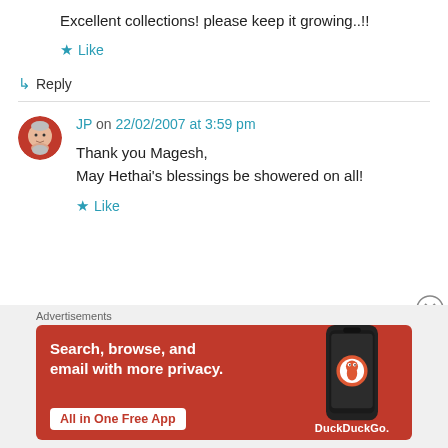Excellent collections! please keep it growing..!!
★ Like
↳ Reply
JP on 22/02/2007 at 3:59 pm
Thank you Magesh,
May Hethai's blessings be showered on all!
★ Like
Advertisements
[Figure (screenshot): DuckDuckGo advertisement banner: orange background, text 'Search, browse, and email with more privacy. All in One Free App', with a phone image and DuckDuckGo logo]